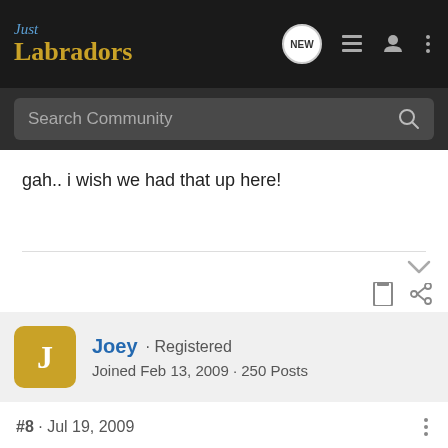Just Labradors
Search Community
gah.. i wish we had that up here!
Joey · Registered
Joined Feb 13, 2009 · 250 Posts
#8 · Jul 19, 2009